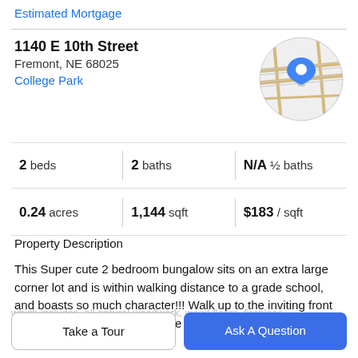Estimated Mortgage
1140 E 10th Street
Fremont, NE 68025
College Park
[Figure (map): Circular map thumbnail showing street map with a blue location pin marker]
2 beds | 2 baths | N/A ½ baths
0.24 acres | 1,144 sqft | $183 / sqft
Property Description
This Super cute 2 bedroom bungalow sits on an extra large corner lot and is within walking distance to a grade school, and boasts so much character!!! Walk up to the inviting front porch and step inside to a large family room which includes, all natural woodwork, wood floors, fireplace
Take a Tour
Ask A Question